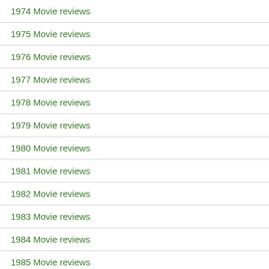1974 Movie reviews
1975 Movie reviews
1976 Movie reviews
1977 Movie reviews
1978 Movie reviews
1979 Movie reviews
1980 Movie reviews
1981 Movie reviews
1982 Movie reviews
1983 Movie reviews
1984 Movie reviews
1985 Movie reviews